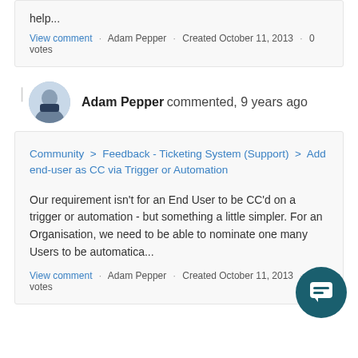help...
View comment · Adam Pepper · Created October 11, 2013 · 0 votes
Adam Pepper commented, 9 years ago
Community > Feedback - Ticketing System (Support) > Add end-user as CC via Trigger or Automation
Our requirement isn't for an End User to be CC'd on a trigger or automation - but something a little simpler. For an Organisation, we need to be able to nominate one many Users to be automatica...
View comment · Adam Pepper · Created October 11, 2013 · 0 votes